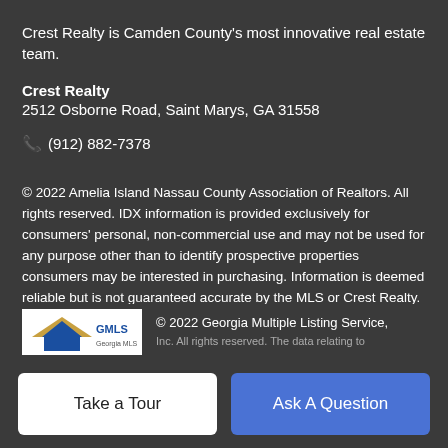Crest Realty is Camden County's most innovative real estate team.
Crest Realty
2512 Osborne Road, Saint Marys, GA 31558
📞 (912) 882-7378
© 2022 Amelia Island Nassau County Association of Realtors. All rights reserved. IDX information is provided exclusively for consumers' personal, non-commercial use and may not be used for any purpose other than to identify prospective properties consumers may be interested in purchasing. Information is deemed reliable but is not guaranteed accurate by the MLS or Crest Realty. Data last updated: 2022-09-02T17:50:23.357.
[Figure (logo): GAMLSI or similar MLS logo with house icon in blue and gold]
© 2022 Georgia Multiple Listing Service,
Take a Tour
Ask A Question